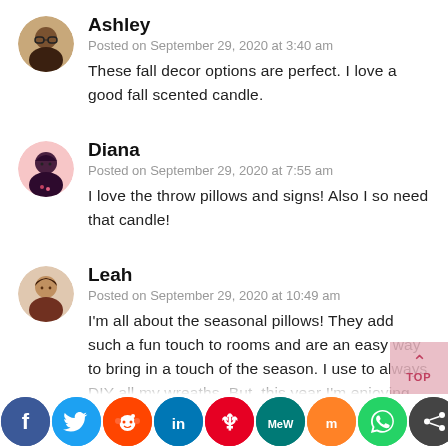[Figure (photo): Avatar of commenter Ashley - circular profile photo of a woman with glasses]
Ashley
Posted on September 29, 2020 at 3:40 am
These fall decor options are perfect. I love a good fall scented candle.
[Figure (photo): Avatar of commenter Diana - circular profile photo of a woman with dark hair]
Diana
Posted on September 29, 2020 at 7:55 am
I love the throw pillows and signs! Also I so need that candle!
[Figure (photo): Avatar of commenter Leah - circular profile photo of a woman]
Leah
Posted on September 29, 2020 at 10:49 am
I'm all about the seasonal pillows! They add such a fun touch to rooms and are an easy way to bring in a touch of the season. I use to always DIY all my wreaths. But, this year I'm enjoying purchasing them. Again, it's been easy and I'm enjoying of fall for much less work
[Figure (infographic): Social sharing buttons bar: Facebook (blue), Twitter (cyan), Reddit (orange-red), LinkedIn (blue), Pinterest (red), MeWe (teal), Mix (orange), WhatsApp (green), Share (dark gray)]